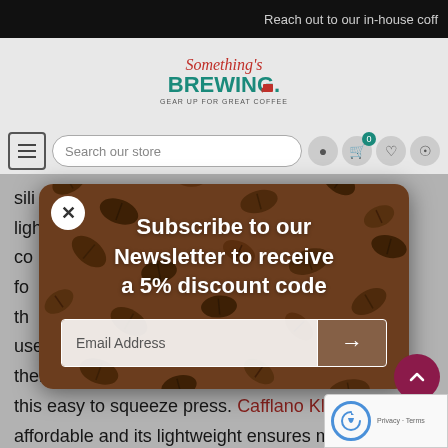Reach out to our in-house coff
[Figure (logo): Something's Brewing logo - 'Something's' in script, 'BREWING' in bold teal, tagline 'GEAR UP FOR GREAT COFFEE']
Search our store
sili... ligh... co... perfect for... the... very user-friendly, just put the beans in, grind, and them filter. Make hot coffee or cold brew with this easy to squeeze press. Cafflano Klassic i affordable and its lightweight ensures maxim portability, removing the hassle of packing. It is
[Figure (screenshot): Newsletter subscription modal popup with coffee beans background. Title: 'Subscribe to our Newsletter to receive a 5% discount code'. Email Address input field with arrow submit button. Close (X) button top left.]